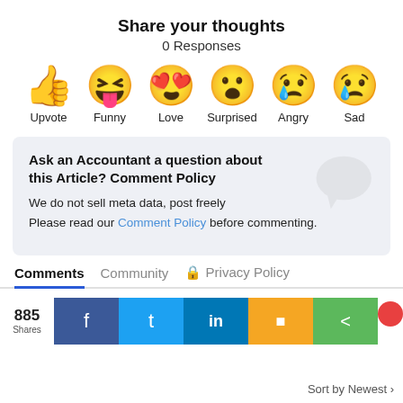Share your thoughts
0 Responses
[Figure (illustration): Six reaction emoji icons in a row: thumbs up (Upvote), laughing with tongue out (Funny), heart eyes (Love), surprised face (Surprised), angry crying face (Angry), sad with tear (Sad)]
Ask an Accountant a question about this Article? Comment Policy
We do not sell meta data, post freely
Please read our Comment Policy before commenting.
Comments  Community  🔒 Privacy Policy
885 Shares
Sort by Newest